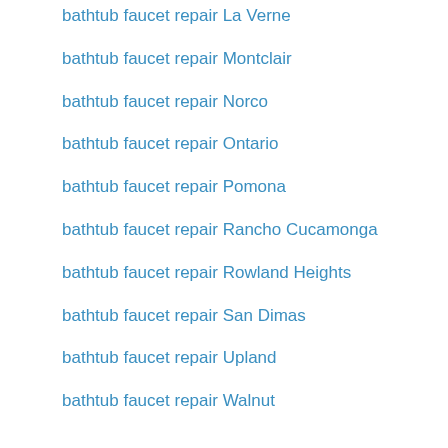bathtub faucet repair La Verne
bathtub faucet repair Montclair
bathtub faucet repair Norco
bathtub faucet repair Ontario
bathtub faucet repair Pomona
bathtub faucet repair Rancho Cucamonga
bathtub faucet repair Rowland Heights
bathtub faucet repair San Dimas
bathtub faucet repair Upland
bathtub faucet repair Walnut